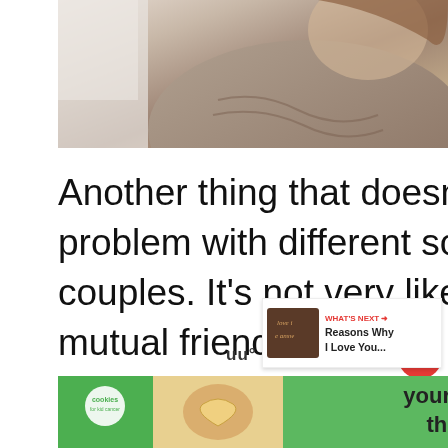[Figure (photo): Partial view of a woman in a knit sweater, soft blurred background, warm tones]
Another thing that doesn't come as a surprise is a problem with different social circles of age gap couples. It's not very likely that they're going to have mutual friends.
[Figure (infographic): Heart/like button (red circle with heart icon), like count '9', and share button]
[Figure (infographic): WHAT'S NEXT arrow, thumbnail image, text: Reasons Why I Love You...]
[Figure (infographic): Advertisement banner: cookies for kid cancer, your HOBBY is their HOPE, with close X button, and MOO logo]